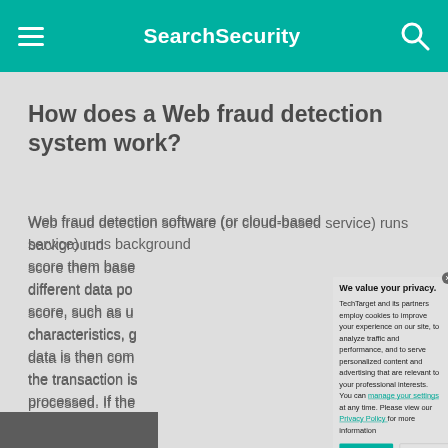SearchSecurity
How does a Web fraud detection system work?
Web fraud detection software (or cloud-based service) runs background checks on transactions and score them based on different data points for a score, such as user characteristics, geographic data is then compared the transaction is processed. If the accepted range, may be automat
[Figure (screenshot): Privacy consent modal overlay with title 'We value your privacy.' containing cookie policy text, links to 'manage your settings' and 'Privacy Policy', and two buttons: OK and Settings]